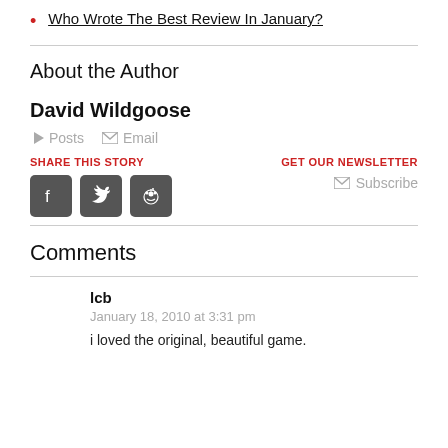Who Wrote The Best Review In January?
About the Author
David Wildgoose
Posts  Email
SHARE THIS STORY
GET OUR NEWSLETTER
Subscribe
Comments
lcb
January 18, 2010 at 3:31 pm
i loved the original, beautiful game.